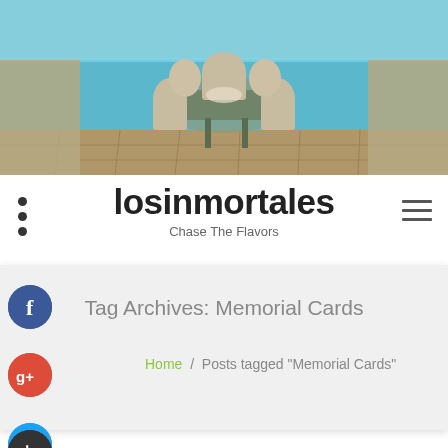[Figure (photo): Outdoor patio furniture — wicker chairs around a table beside a swimming pool, stone tile flooring]
losinmortales
Chase The Flavors
Tag Archives: Memorial Cards
Home / Posts tagged "Memorial Cards"